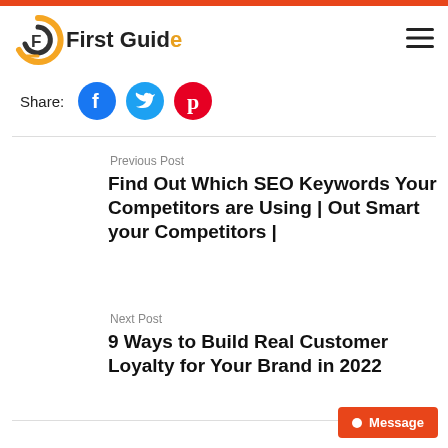First Guide
[Figure (logo): First Guide logo with circular F icon and hamburger menu icon]
Share:
[Figure (illustration): Social share icons: Facebook (blue circle), Twitter (light blue circle), Pinterest (pink/magenta circle)]
Previous Post
Find Out Which SEO Keywords Your Competitors are Using | Out Smart your Competitors |
Next Post
9 Ways to Build Real Customer Loyalty for Your Brand in 2022
Message